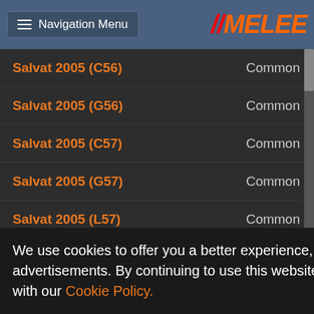Navigation Menu | HIMELEE
Salvat 2005 (C56) — Common
Salvat 2005 (G56) — Common
Salvat 2005 (C57) — Common
Salvat 2005 (G57) — Common
Salvat 2005 (L57) — Common
Salvat 2005 (G58) — Common
Salvat 2005 (L58) — Common
Salvat 2005 (J59) — Common
Salvat 2005 (L59) — Common
Salvat 2005 (J60) — Common
Salvat 2005 (G9) — Common
Salvat 2005 (G56) — Common
Salvat 2005 (C20) — Common
Salvat 2005 (G22) — Common
Salvat 2005 (G34) — Common
Salvat 2005 (G46) — Common
Salvat 2005 (G20) — Common
Salvat 2005 (G21) — Common
Salvat 2005 (C33) — Common
We use cookies to offer you a better experience, analyze site traffic, and serve targeted advertisements. By continuing to use this website, you consent to the use of cookies in accordance with our Cookie Policy.